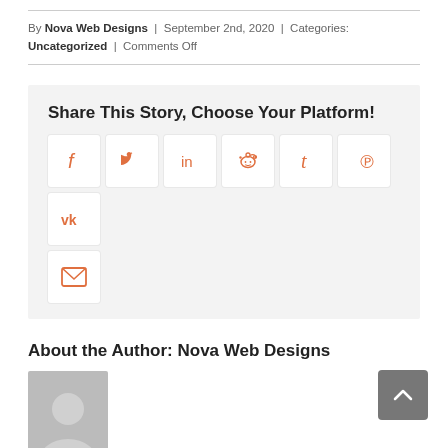By Nova Web Designs | September 2nd, 2020 | Categories: Uncategorized | Comments Off
Share This Story, Choose Your Platform!
[Figure (infographic): Social sharing buttons: Facebook, Twitter, LinkedIn, Reddit, Tumblr, Pinterest, VK, and Email icons in white rounded boxes on a light gray background]
About the Author: Nova Web Designs
[Figure (photo): Author avatar placeholder, gray square with white silhouette]